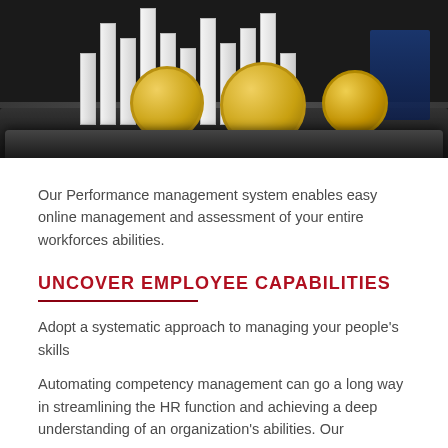[Figure (photo): 3D render of white architectural building models and gold coins on a dark reflective tray, representing financial/HR concepts]
Our Performance management system enables easy online management and assessment of your entire workforces abilities.
UNCOVER EMPLOYEE CAPABILITIES
Adopt a systematic approach to managing your people's skills
Automating competency management can go a long way in streamlining the HR function and achieving a deep understanding of an organization's abilities. Our